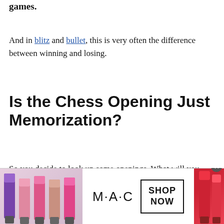games.
And in blitz and bullet, this is very often the difference between winning and losing.
Is the Chess Opening Just Memorization?
So you decide to look up some openings. What will you see?
[Figure (photo): MAC cosmetics advertisement showing colorful lipsticks on the left and right, MAC logo in the center, and a SHOP NOW box. Close button at top right.]